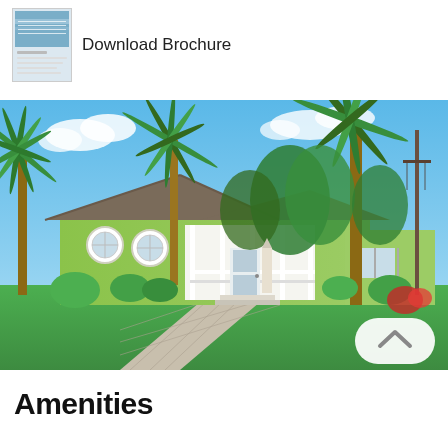Download Brochure
[Figure (photo): Exterior photo of a green tropical Caribbean-style house with palm trees, white porch, circular windows, manicured lawn, and paved driveway]
Amenities